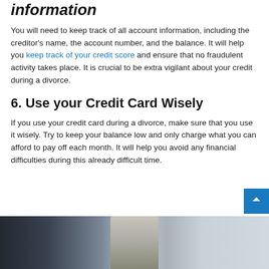information
You will need to keep track of all account information, including the creditor's name, the account number, and the balance. It will help you keep track of your credit score and ensure that no fraudulent activity takes place. It is crucial to be extra vigilant about your credit during a divorce.
6. Use your Credit Card Wisely
If you use your credit card during a divorce, make sure that you use it wisely. Try to keep your balance low and only charge what you can afford to pay off each month. It will help you avoid any financial difficulties during this already difficult time.
[Figure (photo): A man sitting at a desk, likely in a professional or office setting. The image is partially cropped at the bottom of the page.]